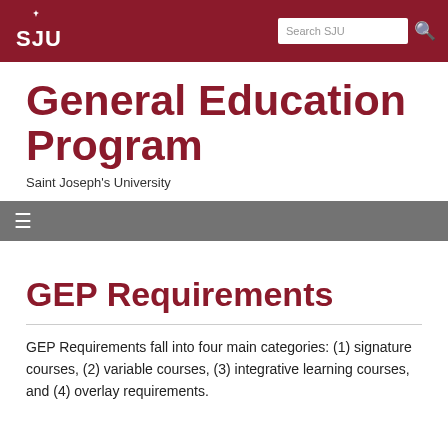SJU — General Education Program — Saint Joseph's University
General Education Program
Saint Joseph's University
GEP Requirements
GEP Requirements fall into four main categories: (1) signature courses, (2) variable courses, (3) integrative learning courses, and (4) overlay requirements.